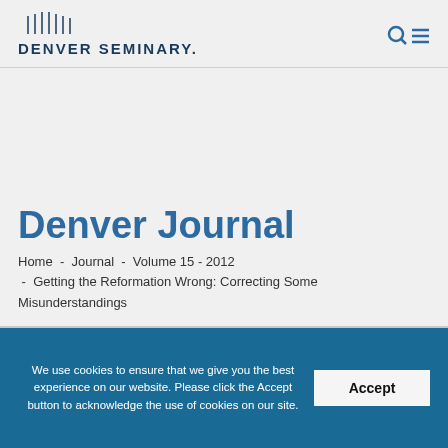DENVER SEMINARY.
Denver Journal
Home - Journal - Volume 15 - 2012 - Getting the Reformation Wrong: Correcting Some Misunderstandings
We use cookies to ensure that we give you the best experience on our website. Please click the Accept button to acknowledge the use of cookies on our site.